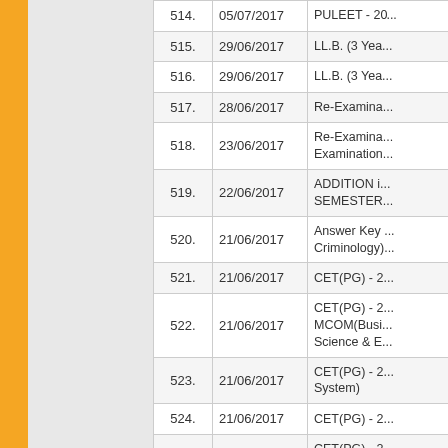| No. | Date | Title |
| --- | --- | --- |
| 514. | 05/07/2017 | PULEET - 2... |
| 515. | 29/06/2017 | LL.B. (3 Yea... |
| 516. | 29/06/2017 | LL.B. (3 Yea... |
| 517. | 28/06/2017 | Re-Examina... |
| 518. | 23/06/2017 | Re-Examina... Examination... |
| 519. | 22/06/2017 | ADDITION i... SEMESTER... |
| 520. | 21/06/2017 | Answer Key... Criminology)... |
| 521. | 21/06/2017 | CET(PG) - 2... |
| 522. | 21/06/2017 | CET(PG) - 2... MCOM(Busi... Science & E... |
| 523. | 21/06/2017 | CET(PG) - 2... System) |
| 524. | 21/06/2017 | CET(PG) - 2... |
| 525. | 21/06/2017 | CET(PG) - 2... NanoTechno... |
| 526. | 21/06/2017 | CET(PG) - 2... |